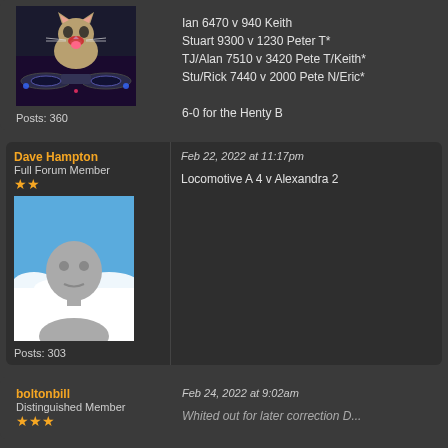Ian 6470 v 940 Keith
Stuart 9300 v 1230 Peter T*
TJ/Alan 7510 v 3420 Pete T/Keith*
Stu/Rick 7440 v 2000 Pete N/Eric*

6-0 for the Henty B
Posts: 360
Dave Hampton
Full Forum Member
Feb 22, 2022 at 11:17pm
[Figure (photo): Default avatar placeholder image showing a grey bald figure against a blue sky background]
Locomotive A 4 v Alexandra 2
Posts: 303
boltonbill
Distinguished Member
Feb 24, 2022 at 9:02am